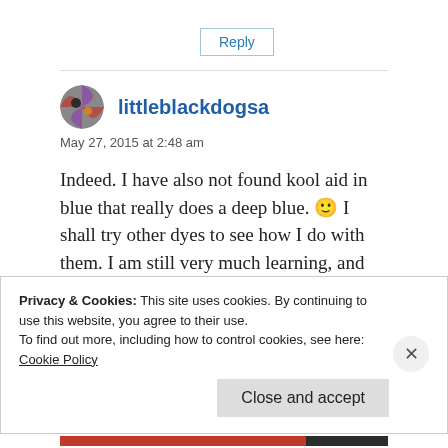Reply
littleblackdogsa
May 27, 2015 at 2:48 am
Indeed. I have also not found kool aid in blue that really does a deep blue. 🙂 I shall try other dyes to see how I do with them. I am still very much learning, and having
Privacy & Cookies: This site uses cookies. By continuing to use this website, you agree to their use.
To find out more, including how to control cookies, see here:
Cookie Policy
Close and accept